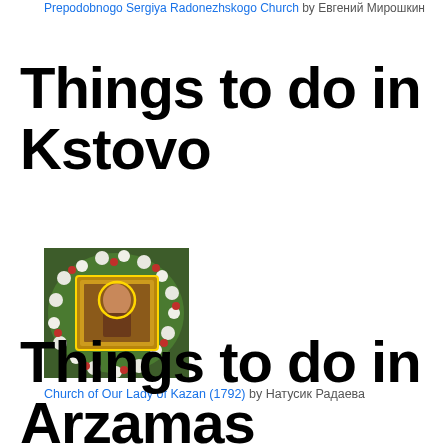Prepodobnogo Sergiya Radonezhskogo Church by Евгений Мирошкин
Things to do in Kstovo
[Figure (photo): Church of Our Lady of Kazan (1792) — an icon surrounded by flowers and greenery]
Church of Our Lady of Kazan (1792) by Натусик Радаева
Things to do in Arzamas